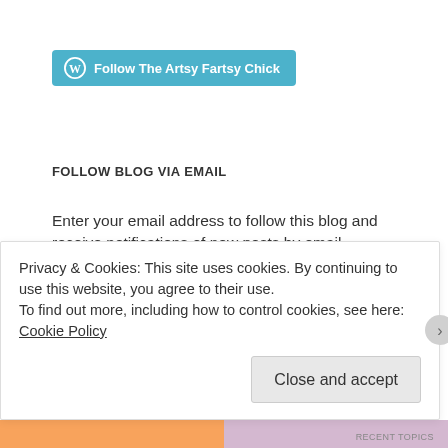[Figure (logo): WordPress follow button with teal background reading 'Follow The Artsy Fartsy Chick']
FOLLOW BLOG VIA EMAIL
Enter your email address to follow this blog and receive notifications of new posts by email.
Privacy & Cookies: This site uses cookies. By continuing to use this website, you agree to their use.
To find out more, including how to control cookies, see here: Cookie Policy
Close and accept